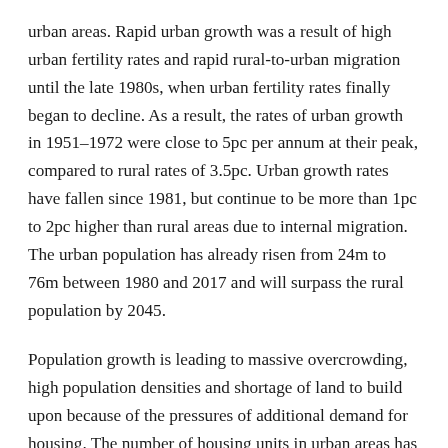urban areas. Rapid urban growth was a result of high urban fertility rates and rapid rural-to-urban migration until the late 1980s, when urban fertility rates finally began to decline. As a result, the rates of urban growth in 1951–1972 were close to 5pc per annum at their peak, compared to rural rates of 3.5pc. Urban growth rates have fallen since 1981, but continue to be more than 1pc to 2pc higher than rural areas due to internal migration. The urban population has already risen from 24m to 76m between 1980 and 2017 and will surpass the rural population by 2045.
Population growth is leading to massive overcrowding, high population densities and shortage of land to build upon because of the pressures of additional demand for housing. The number of housing units in urban areas has gone up from 3.6m to 12m units between 1980 and 2017. The quadrupling of housing demand is leading to steep rises in real estate costs and conversion of rural and zoned areas to housing projects.